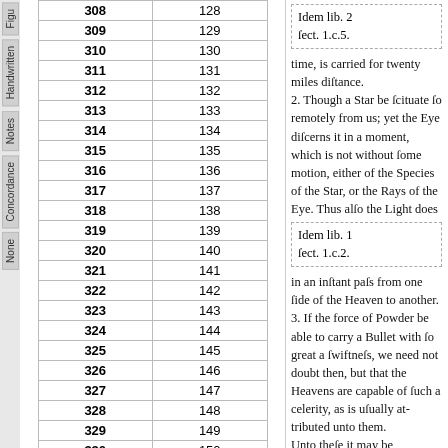|  |  |
| --- | --- |
| 308 | 128 |
| 309 | 129 |
| 310 | 130 |
| 311 | 131 |
| 312 | 132 |
| 313 | 133 |
| 314 | 134 |
| 315 | 135 |
| 316 | 136 |
| 317 | 137 |
| 318 | 138 |
| 319 | 139 |
| 320 | 140 |
| 321 | 141 |
| 322 | 142 |
| 323 | 143 |
| 324 | 144 |
| 325 | 145 |
| 326 | 146 |
| 327 | 147 |
| 328 | 148 |
| 329 | 149 |
| 330 | 150 |
< 301 - 330 >
Idem lib. 2
ſect. 1.c.5.
time, is carried for twenty miles diſtance.
2. Though a Star be ſcituate ſo remotely from us; yet the Eye diſcerns it in a moment, which is not without ſome motion, either of the Species of the Star, or the Rays of the Eye. Thus alſo the Light does
Idem lib. 1
ſect. 1.c.2.
in an inſtant paſs from one ſide of the Heaven to another.
3. If the force of Powder be able to carry a Bullet with ſo great a ſwiftneſs, we need not doubt then, but that the Heavens are capable of ſuch a celerity, as is uſually attributed unto them.
Unto theſe it may be anſwered:
1. Where they ſay that the Heavenly Bodies are without all gravity; we grant it, in the ſame ſenſe as our Earth alſo, being conſidered as whole, and in its proper place,